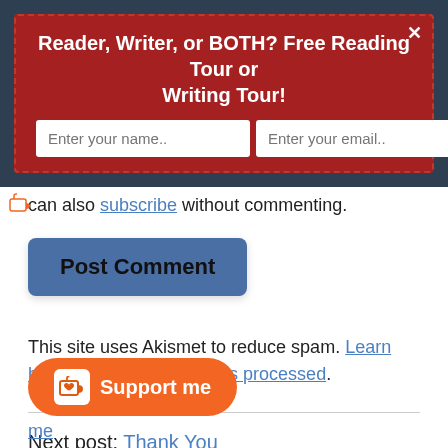Reader, Writer, or BOTH? Free Reading Tour or Writing Tour!
[Figure (screenshot): Email subscription form with name field, email field, and Subscribe Now button on dark navy background]
can also subscribe without commenting.
[Figure (screenshot): Blue Post Comment button]
This site uses Akismet to reduce spam. Learn how your comment data is processed.
Next post: Thank You
[Figure (screenshot): Orange Support me button with Ko-fi cup icon]
Previous post link (partially visible)